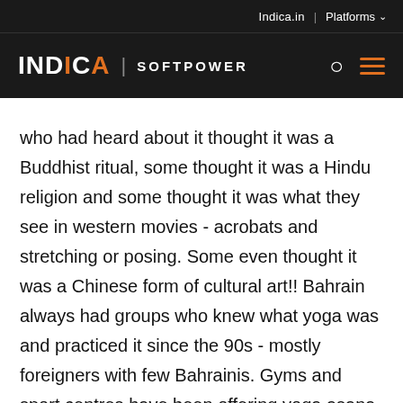Indica.in | Platforms
INDICA | SOFTPOWER
who had heard about it thought it was a Buddhist ritual, some thought it was a Hindu religion and some thought it was what they see in western movies - acrobats and stretching or posing. Some even thought it was a Chinese form of cultural art!! Bahrain always had groups who knew what yoga was and practiced it since the 90s - mostly foreigners with few Bahrainis. Gyms and sport centres have been offering yoga asana sessions